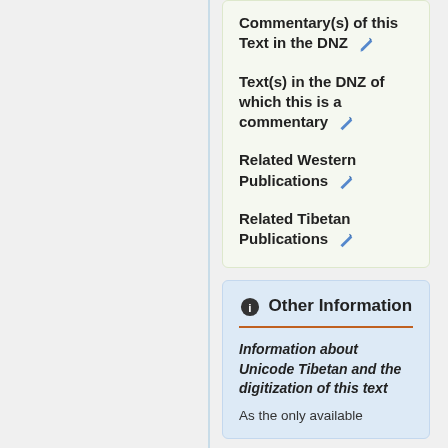Commentary(s) of this Text in the DNZ
Text(s) in the DNZ of which this is a commentary
Related Western Publications
Related Tibetan Publications
Other Information
Information about Unicode Tibetan and the digitization of this text
As the only available